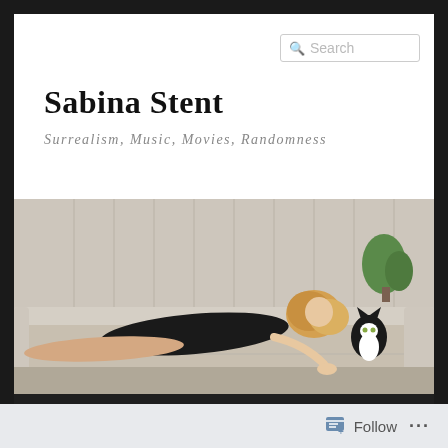[Figure (screenshot): Website screenshot of Sabina Stent blog showing search box, title, tagline, hero image of blonde woman in black dress lying on a sofa with a black and white cat, and navigation bar with Home, TCMFF, Music, Newsletter, Other Work, About links]
Sabina Stent
Surrealism, Music, Movies, Randomness
Follow ...